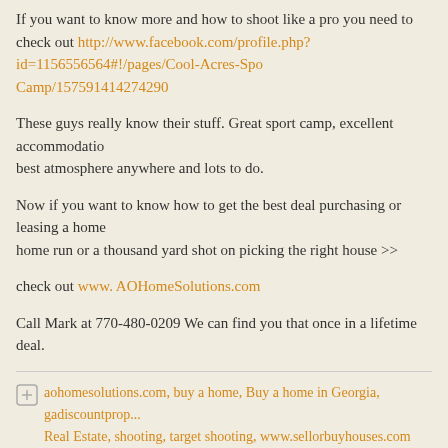If you want to know more and how to shoot like a pro you need to check out http://www.facebook.com/profile.php?id=1156556564#!/pages/Cool-Acres-Sporting-Camp/157591414274290
These guys really know their stuff.  Great sport camp, excellent accommodations, best atmosphere anywhere and lots to do.
Now if you want to know how to get the best deal purchasing or leasing a home, hit a home run or  a thousand yard shot on picking the right house >>
check out www.AOHomeSolutions.com
Call Mark at 770-480-0209  We can find you that once in a lifetime deal.
aohomesolutions.com, buy a home, Buy a home in Georgia, gadiscountprop..., Real Estate, shooting, target shooting, www.sellorbuyhouses.com
Comments are closed.
« Previous Entries